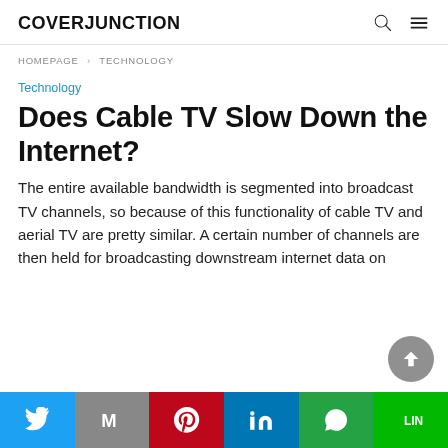COVERJUNCTION
HOMEPAGE › TECHNOLOGY
Technology
Does Cable TV Slow Down the Internet?
The entire available bandwidth is segmented into broadcast TV channels, so because of this functionality of cable TV and aerial TV are pretty similar. A certain number of channels are then held for broadcasting downstream internet data on